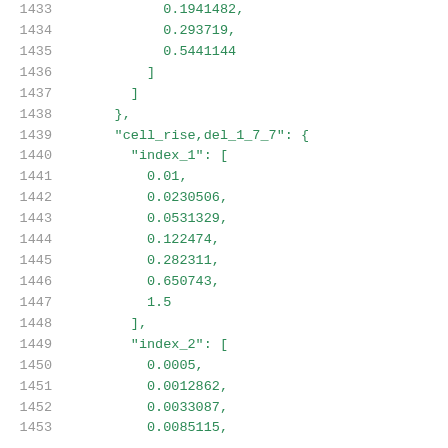1433    0.1941482,
1434    0.293719,
1435    0.5441144
1436    ]
1437    ]
1438    },
1439    "cell_rise,del_1_7_7": {
1440    "index_1": [
1441    0.01,
1442    0.0230506,
1443    0.0531329,
1444    0.122474,
1445    0.282311,
1446    0.650743,
1447    1.5
1448    ],
1449    "index_2": [
1450    0.0005,
1451    0.0012862,
1452    0.0033087,
1453    0.0085115,